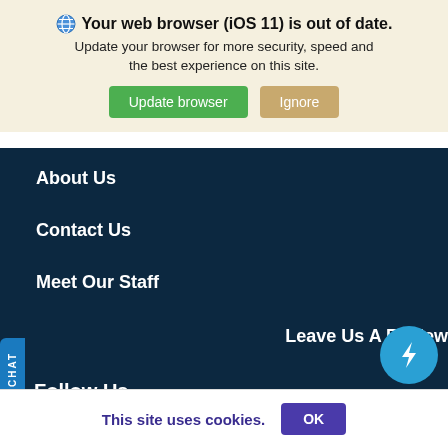🌐 Your web browser (iOS 11) is out of date. Update your browser for more security, speed and the best experience on this site. [Update browser] [Ignore]
About Us
Contact Us
Meet Our Staff
Leave Us A Review
Follow Us
[Figure (other): Social media icons: Facebook, Twitter, YouTube]
[Figure (other): Blue lightning bolt floating action button]
CHAT
This site uses cookies.  OK